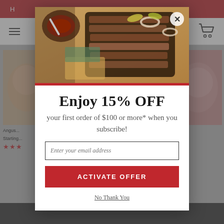[Figure (screenshot): Background website with red header bar showing navigation text 'H...RK', a white nav bar with hamburger menu and cart icon, product images of meat cuts, star ratings, and a dark footer bar.]
[Figure (photo): Modal popup image showing sliced BBQ beef brisket on a wooden cutting board with onion rings, banana peppers, and a bowl of sauce.]
Enjoy 15% OFF
your first order of $100 or more* when you subscribe!
Enter your email address
ACTIVATE OFFER
No Thank You